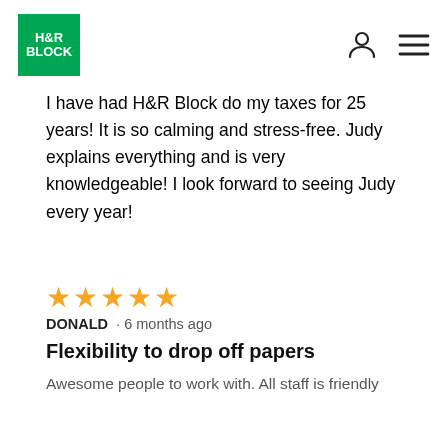H&R Block
I have had H&R Block do my taxes for 25 years! It is so calming and stress-free. Judy explains everything and is very knowledgeable! I look forward to seeing Judy every year!
★★★★★ DONALD · 6 months ago
Flexibility to drop off papers
Awesome people to work with. All staff is friendly
★★★★★ GUYLAINE · 6 months ago